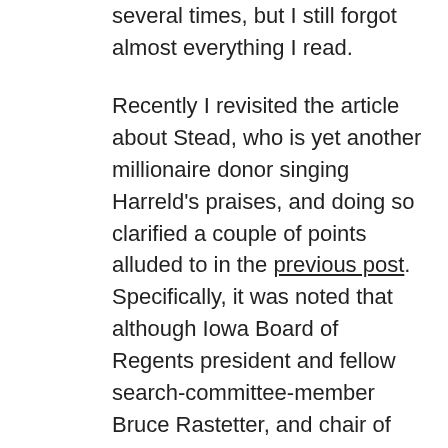several times, but I still forgot almost everything I read.
Recently I revisited the article about Stead, who is yet another millionaire donor singing Harreld's praises, and doing so clarified a couple of points alluded to in the previous post. Specifically, it was noted that although Iowa Board of Regents president and fellow search-committee-member Bruce Rastetter, and chair of the search committee and acting University of Iowa President Jean Robillard, both claim to have recruited Harreld first — even as those claims are at variance with Harreld's own narrative about how he was nominated — neither Rastetter nor Robillard have had anything to say about how and when they first learned of Harreld. One minute Rastetter and Robillard have no knowledge of J. Bruce Harreld,